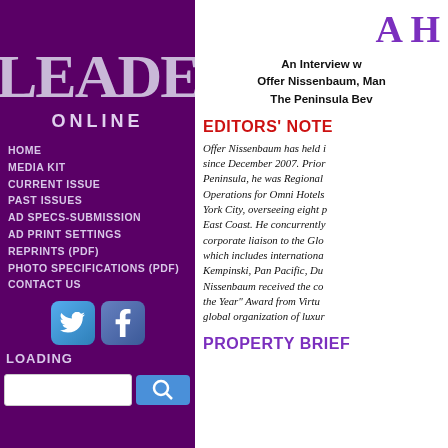LEADERS
ONLINE
HOME
MEDIA KIT
CURRENT ISSUE
PAST ISSUES
AD SPECS-SUBMISSION
AD PRINT SETTINGS
REPRINTS (PDF)
PHOTO SPECIFICATIONS (PDF)
CONTACT US
[Figure (logo): Twitter and Facebook social media icons]
LOADING
A H
An Interview with Offer Nissenbaum, Man... The Peninsula Bev...
EDITORS' NOTE
Offer Nissenbaum has held ... since December 2007. Prior... Peninsula, he was Regional... Operations for Omni Hotels... York City, overseeing eight p... East Coast. He concurrently... corporate liaison to the Glo... which includes internationa... Kempinski, Pan Pacific, Du... Nissenbaum received the co... the Year" Award from Virtu... global organization of luxur...
PROPERTY BRIEF